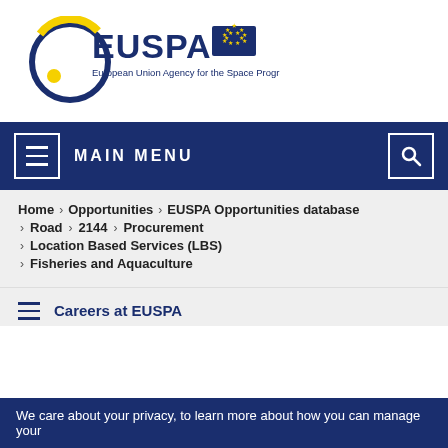[Figure (logo): EUSPA logo — European Union Agency for the Space Programme — with circular blue/yellow ring graphic, EUSPA text, and EU flag]
MAIN MENU
Home > Opportunities > EUSPA Opportunities database > Road > 2144 > Procurement > Location Based Services (LBS) > Fisheries and Aquaculture
Careers at EUSPA
We care about your privacy, to learn more about how you can manage your